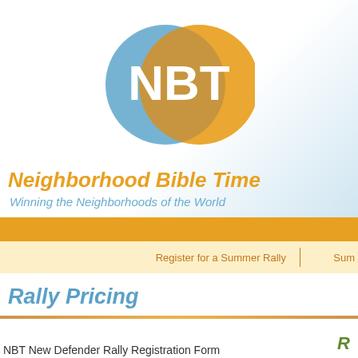[Figure (logo): NBT logo: two overlapping circles (blue and orange) with white letters NBT]
Neighborhood Bible Time
Winning the Neighborhoods of the World
Register for a Summer Rally | Sum...
Rally Pricing
R
NBT New Defender Rally Registration Form...